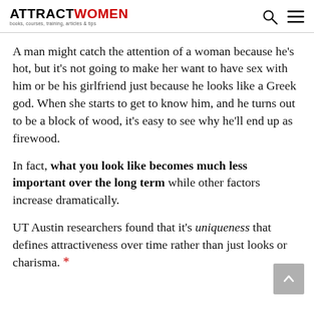ATTRACTWOMEN — books, courses, training, articles & tips
A man might catch the attention of a woman because he's hot, but it's not going to make her want to have sex with him or be his girlfriend just because he looks like a Greek god. When she starts to get to know him, and he turns out to be a block of wood, it's easy to see why he'll end up as firewood.
In fact, what you look like becomes much less important over the long term while other factors increase dramatically.
UT Austin researchers found that it's uniqueness that defines attractiveness over time rather than just looks or charisma. *